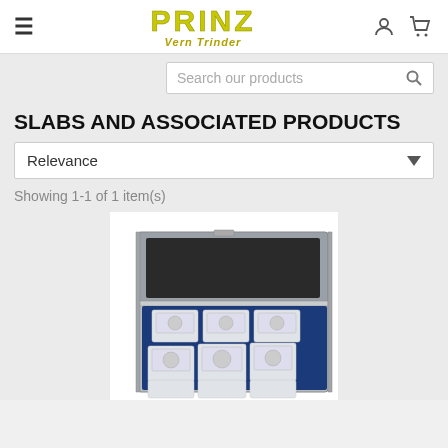PRINZ Vern Trinder — navigation header with hamburger menu, logo, account icon, and cart icon
Search our products
SLABS AND ASSOCIATED PRODUCTS
Relevance
Showing 1-1 of 1 item(s)
[Figure (photo): Open aluminum briefcase/suitcase containing a tray with multiple coin slabs (graded coins in plastic holders) arranged in rows, displayed on a white background.]